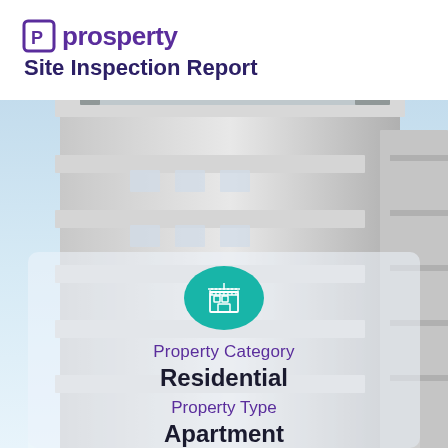[Figure (logo): Prosperty logo with stylized R bracket icon in purple and the word 'prosperty' in purple]
Site Inspection Report
[Figure (photo): Modern multi-storey white residential apartment building under construction or completed, shot from below looking up, with blue sky background. A white semi-transparent overlay card sits in the lower portion showing property details.]
Property Category
Residential
Property Type
Apartment